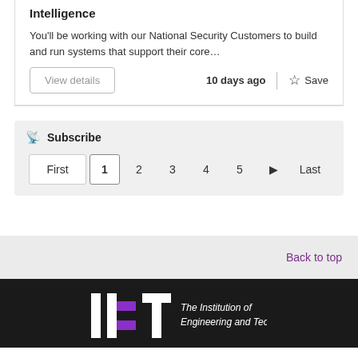Intelligence
You'll be working with our National Security Customers to build and run systems that support their core…
View details
10 days ago
Save
Subscribe
First 1 2 3 4 5 ▶ Last
Back to top
[Figure (logo): IET - The Institution of Engineering and Technology logo in white and purple on dark background]